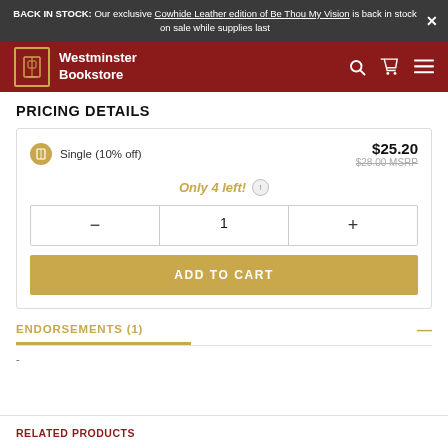BACK IN STOCK: Our exclusive Cowhide Leather edition of Be Thou My Vision is back in stock on sale while supplies last
[Figure (screenshot): Westminster Bookstore navigation bar with logo, search, cart, and menu icons on dark red background]
PRICING DETAILS
| Single (10% off) | $25.20 |
|  | $28.00 MSRP |
Only 4 left!
- 1 +
ADD TO CART
ENDORSEMENTS (1)
-